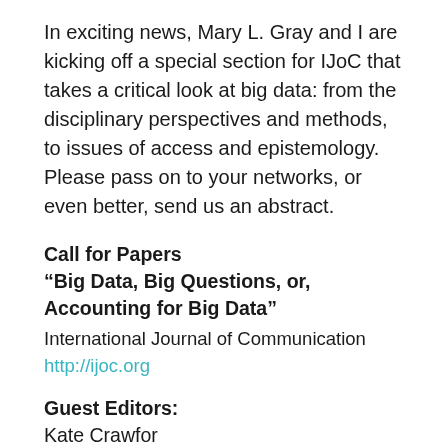In exciting news, Mary L. Gray and I are kicking off a special section for IJoC that takes a critical look at big data: from the disciplinary perspectives and methods, to issues of access and epistemology. Please pass on to your networks, or even better, send us an abstract.
Call for Papers
“Big Data, Big Questions, or, Accounting for Big Data”
International Journal of Communication
http://ijoc.org
Guest Editors:
Kate Crawford...